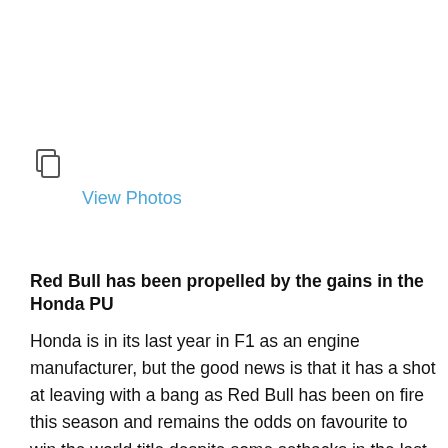[Figure (other): Copy/duplicate icon (two overlapping rectangles)]
View Photos
Red Bull has been propelled by the gains in the Honda PU
Honda is in its last year in F1 as an engine manufacturer, but the good news is that it has a shot at leaving with a bang as Red Bull has been on fire this season and remains the odds on favourite to win the world title despite some setbacks in the last couple of races which has handed back the advantage to Lewis Hamilton and Mercedes. But even if that were to not happen, with the Honda engine IP being the foundation of Red